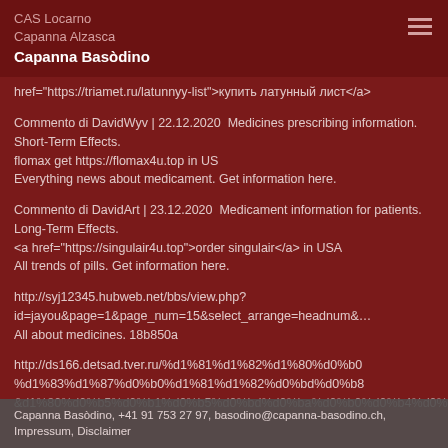CAS Locarno
Capanna Alzasca
Capanna Basòdino
href="https://triamet.ru/latunnyy-list">купить латунный лист</a>
Commento di DavidWyv | 22.12.2020  Medicines prescribing information. Short-Term Effects.
flomax get https://flomax4u.top in US
Everything news about medicament. Get information here.
Commento di DavidArt | 23.12.2020  Medicament information for patients. Long-Term Effects.
<a href="https://singulair4u.top">order singulair</a> in USA
All trends of pills. Get information here.
http://syj12345.hubweb.net/bbs/view.php?id=jayou&page=1&page_num=15&select_arrange=headnum&
All about medicines. 18b850a
http://ds166.detsad.tver.ru/%d1%81%d1%82%d1%80%d0%b0
%d1%83%d1%87%d0%b0%d1%81%d1%82%d0%bd%d0%b8
&d1%80%d0%b5%d0%b1%d0%b5%d0%bd%d0%ba%d0%b0%d0%b4
best ways you want to know about medication.
Capanna Basòdino, +41 91 753 27 97, basodino@capanna-basodino.ch, Impressum, Disclaimer